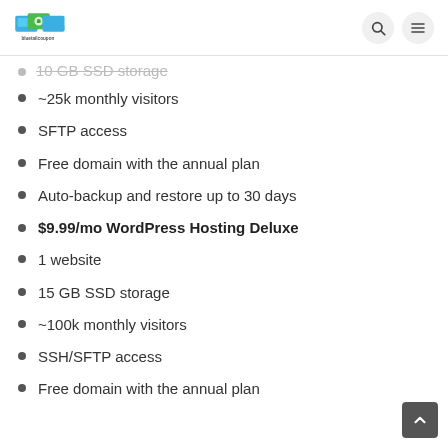bluetailcoupon logo with search and menu icons
~25k monthly visitors
SFTP access
Free domain with the annual plan
Auto-backup and restore up to 30 days
$9.99/mo WordPress Hosting Deluxe
1 website
15 GB SSD storage
~100k monthly visitors
SSH/SFTP access
Free domain with the annual plan